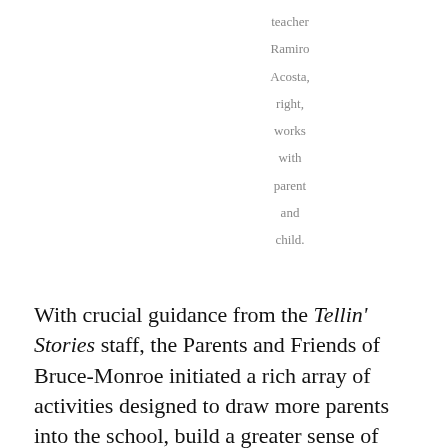teacher Ramiro Acosta, right, works with parent and child.
With crucial guidance from the Tellin' Stories staff, the Parents and Friends of Bruce-Monroe initiated a rich array of activities designed to draw more parents into the school, build a greater sense of community,